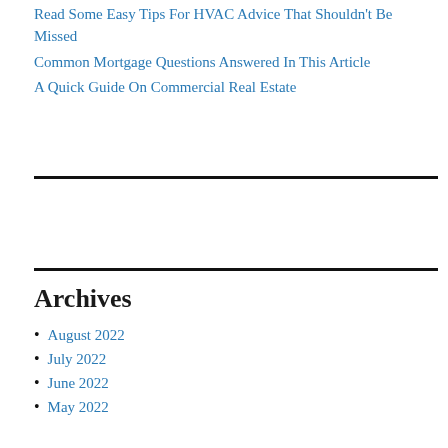Read Some Easy Tips For HVAC Advice That Shouldn't Be Missed
Common Mortgage Questions Answered In This Article
A Quick Guide On Commercial Real Estate
Archives
August 2022
July 2022
June 2022
May 2022